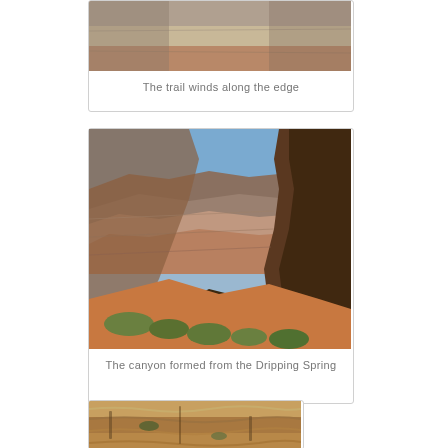[Figure (photo): Top portion of a card showing trail along canyon edge (partially visible at top of page)]
The trail winds along the edge
[Figure (photo): A deep canyon view with red rock formations, blue sky, and desert vegetation — the canyon formed from the Dripping Spring trail area]
The canyon formed from the Dripping Spring
[Figure (photo): Close-up of golden-brown rock texture with some green vegetation, partially visible at bottom of page]